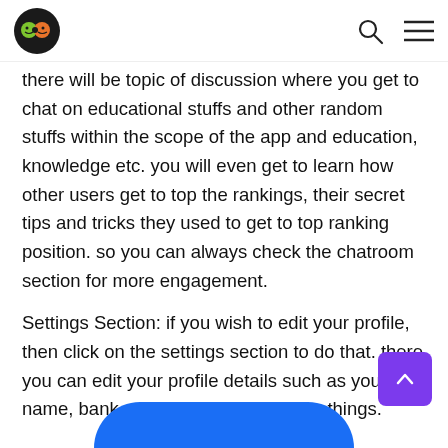[Logo] [Search icon] [Menu icon]
there will be topic of discussion where you get to chat on educational stuffs and other random stuffs within the scope of the app and education, knowledge etc. you will even get to learn how other users get to top the rankings, their secret tips and tricks they used to get to top ranking position. so you can always check the chatroom section for more engagement.
Settings Section: if you wish to edit your profile, then click on the settings section to do that. there you can edit your profile details such as your name, bank account and every other things.